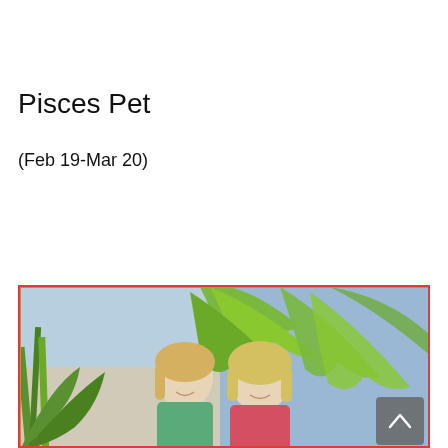Pisces Pet
(Feb 19-Mar 20)
[Figure (photo): Two smiling blonde women standing in front of a blue wall with palm fronds in the background. Left woman wears a teal/green patterned top; right woman wears a pink floral top. Tropical outdoor setting.]